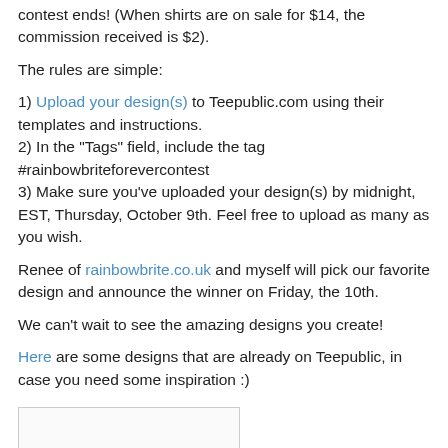contest ends! (When shirts are on sale for $14, the commission received is $2).
The rules are simple:
1) Upload your design(s) to Teepublic.com using their templates and instructions.
2) In the "Tags" field, include the tag #rainbowbriteforevercontest
3) Make sure you've uploaded your design(s) by midnight, EST, Thursday, October 9th. Feel free to upload as many as you wish.
Renee of rainbowbrite.co.uk and myself will pick our favorite design and announce the winner on Friday, the 10th.
We can't wait to see the amazing designs you create!
Here are some designs that are already on Teepublic, in case you need some inspiration :)
[Figure (other): Partial image placeholder at bottom of page]